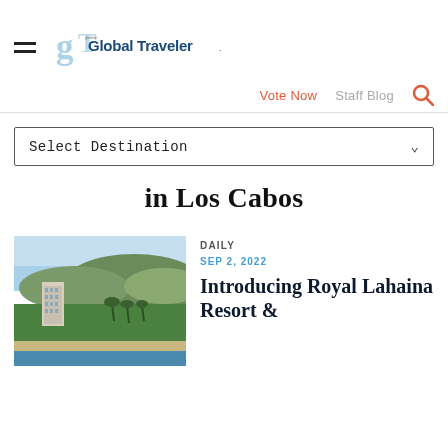Global Traveler
Vote Now   Staff Blog
Select Destination
in Los Cabos
DAILY
SEP 2, 2022
Introducing Royal Lahaina Resort &
[Figure (photo): Aerial view of a coastal resort with a tall hotel building, golf course, palm trees, and ocean in the background.]